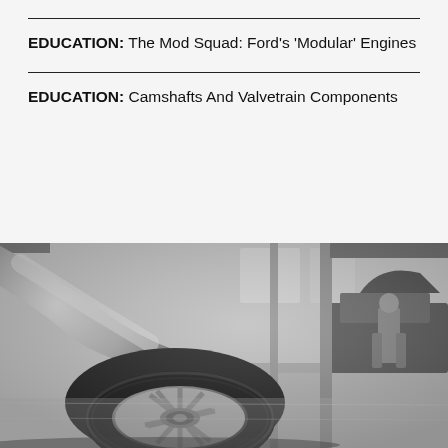EDUCATION: The Mod Squad: Ford's 'Modular' Engines
EDUCATION: Camshafts And Valvetrain Components
[Figure (photo): Black and white photograph of a car wheel/tire close-up in the foreground with a mechanic standing in an automotive garage/workshop in the background]